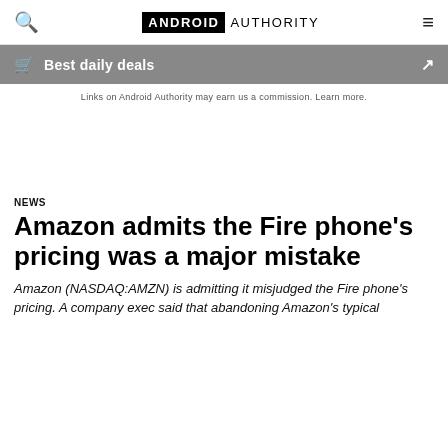ANDROID AUTHORITY
Best daily deals
Links on Android Authority may earn us a commission. Learn more.
NEWS
Amazon admits the Fire phone's pricing was a major mistake
Amazon (NASDAQ:AMZN) is admitting it misjudged the Fire phone's pricing. A company exec said that abandoning Amazon's typical strategy called